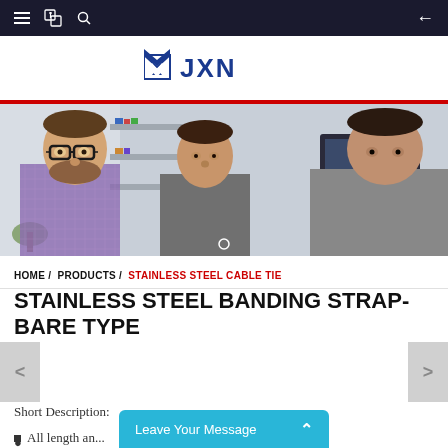Navigation bar with hamburger menu, translate icon, search icon, and back arrow
[Figure (logo): JXN logo with blue chevron/envelope icon and bold blue JXN text]
[Figure (photo): Banner photo of three men in an office setting looking at a screen]
HOME / PRODUCTS / STAINLESS STEEL CABLE TIE
STAINLESS STEEL BANDING STRAP-BARE TYPE
Short Description:
All length an...
Leave Your Message